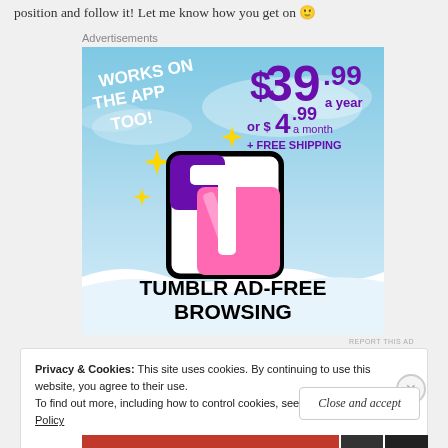position and follow it! Let me know how you get on 🙂
Advertisements
[Figure (illustration): Tumblr Ad-Free Browsing advertisement showing the Tumblr logo with sparkles on a blue sky background. Text reads: WORKS ON THE APP TOO! $39.99 a year or $4.99 a month + FREE SHIPPING. TUMBLR AD-FREE BROWSING.]
REPORT THIS AD
Privacy & Cookies: This site uses cookies. By continuing to use this website, you agree to their use.
To find out more, including how to control cookies, see here: Cookie Policy
Close and accept